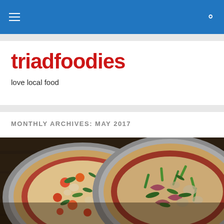triadfoodies - navigation bar with hamburger menu and search icon
triadfoodies
love local food
MONTHLY ARCHIVES: MAY 2017
[Figure (photo): Two artisan pizzas on metal pans photographed from above on a dark wooden table. Left pizza has tomatoes, herbs, and cheese toppings. Right pizza has green peppers, red onion, mushrooms, and arugula.]